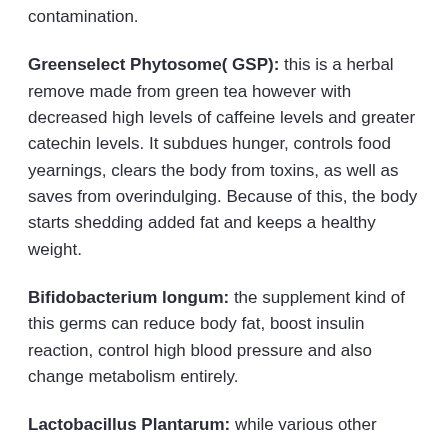contamination.
Greenselect Phytosome( GSP): this is a herbal remove made from green tea however with decreased high levels of caffeine levels and greater catechin levels. It subdues hunger, controls food yearnings, clears the body from toxins, as well as saves from overindulging. Because of this, the body starts shedding added fat and keeps a healthy weight.
Bifidobacterium longum: the supplement kind of this germs can reduce body fat, boost insulin reaction, control high blood pressure and also change metabolism entirely.
Lactobacillus Plantarum: while various other